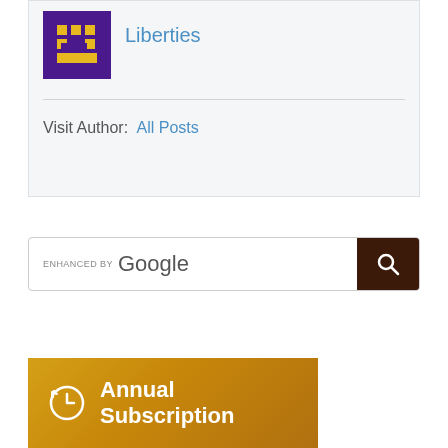[Figure (logo): Purple square logo with gold pixel art graphic, followed by author name 'Liberties' in blue text]
Visit Author:  All Posts
[Figure (screenshot): Google search bar with 'ENHANCED BY Google' label and dark brown search button with magnifying glass icon]
[Figure (infographic): Gold/orange gradient banner with clock/refresh icon and text 'Annual Subscription' in white bold font]